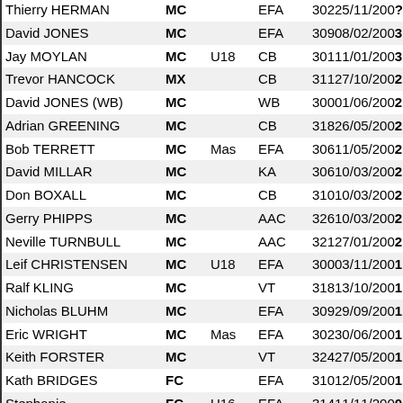| Name | Cat | Age | Assoc | Ref/Date |
| --- | --- | --- | --- | --- |
| Thierry HERMAN | MC |  | EFA | 30225/11/200? |
| David JONES | MC |  | EFA | 30908/02/2003 |
| Jay MOYLAN | MC | U18 | CB | 30111/01/2003 |
| Trevor HANCOCK | MX |  | CB | 31127/10/2002 |
| David JONES (WB) | MC |  | WB | 30001/06/2002 |
| Adrian GREENING | MC |  | CB | 31826/05/2002 |
| Bob TERRETT | MC | Mas | EFA | 30611/05/2002 |
| David MILLAR | MC |  | KA | 30610/03/2002 |
| Don BOXALL | MC |  | CB | 31010/03/2002 |
| Gerry PHIPPS | MC |  | AAC | 32610/03/2002 |
| Neville TURNBULL | MC |  | AAC | 32127/01/2002 |
| Leif CHRISTENSEN | MC | U18 | EFA | 30003/11/2001 |
| Ralf KLING | MC |  | VT | 31813/10/2001 |
| Nicholas BLUHM | MC |  | EFA | 30929/09/2001 |
| Eric WRIGHT | MC | Mas | EFA | 30230/06/2001 |
| Keith FORSTER | MC |  | VT | 32427/05/2001 |
| Kath BRIDGES | FC |  | EFA | 31012/05/2001 |
| Stephanie HARTLEY | FC | U16 | EFA | 31411/11/2000 |
| Margaret FLETCHER | FR |  | SVAC | 30229/10/2000 |
| Deb UPRIGHT | FX |  | SVAC | 30529/10/2000 |
| John ALLEN | MX | Mas | AAC | 30829/10/2000 |